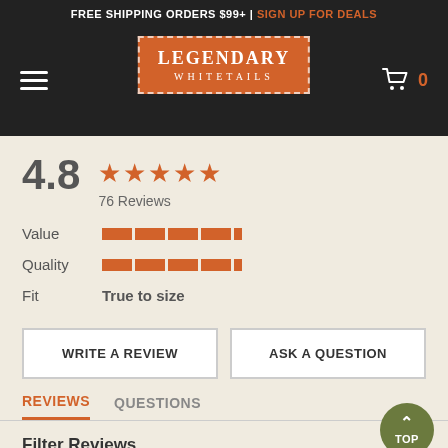FREE SHIPPING ORDERS $99+ | SIGN UP FOR DEALS
[Figure (logo): Legendary Whitetails logo on orange background with dashed border, hamburger menu and cart icon]
4.8
76 Reviews
Value
Quality
Fit
True to size
WRITE A REVIEW
ASK A QUESTION
REVIEWS
QUESTIONS
Filter Reviews